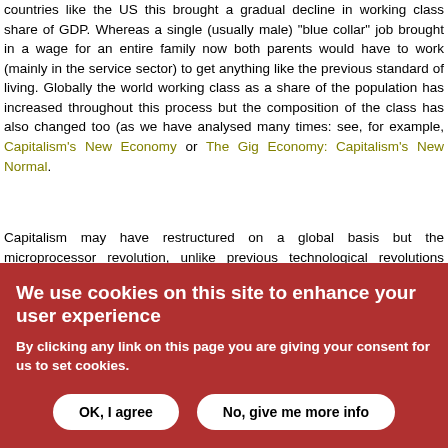countries like the US this brought a gradual decline in working class share of GDP. Whereas a single (usually male) "blue collar" job brought in a wage for an entire family now both parents would have to work (mainly in the service sector) to get anything like the previous standard of living. Globally the world working class as a share of the population has increased throughout this process but the composition of the class has also changed too (as we have analysed many times: see, for example, Capitalism's New Economy or The Gig Economy: Capitalism's New Normal.
Capitalism may have restructured on a global basis but the microprocessor revolution, unlike previous technological revolutions (steam power, electricity, internal combustion engine), did not spawn a whole load of ancillary activities which could have made the system more profitable. The crisis of the law of the tendency of the rate of profit to fall which had brought an end to the post-war boom had not been...
We use cookies on this site to enhance your user experience
By clicking any link on this page you are giving your consent for us to set cookies.